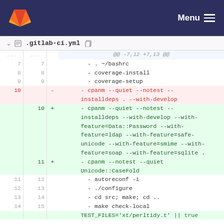GitLab — Menu
.gitlab-ci.yml
| old | new |  | code |
| --- | --- | --- | --- |
| ... | ... |  | @@ -7,12 +7,13 @@ |
| 7 | 7 |  |     - . ~/bashrc |
| 8 | 8 |  |     - coverage-install |
| 9 | 9 |  |     - coverage-setup |
| 10 |  | - |     - cpanm --quiet --notest --installdeps . --with-develop |
|  | 10 | + |     - cpanm --quiet --notest --installdeps --with-develop --with-feature=Data::Password --with-feature=ldap --with-feature=safe-unicode --with-feature=smime --with-feature=soap --with-feature=sqlite . |
|  | 11 | + |     - cpanm --notest --quiet Unicode::CaseFold |
| 11 | 12 |  |     - autoreconf -i |
| 12 | 13 |  |     - ./configure |
| 13 | 14 |  |     - cd src; make; cd .. |
| 14 | 15 |  |     - make check-local |
|  |  |  | TEST_FILES='xt/perltidy.t' || true |